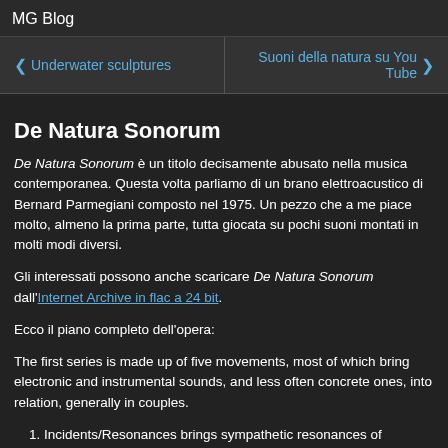MG Blog
< Underwater sculptures
Suoni della natura su You Tube >
De Natura Sonorum
De Natura Sonorum è un titolo decisamente abusato nella musica contemporanea. Questa volta parliamo di un brano elettroacustico di Bernard Parmegiani composto nel 1975. Un pezzo che a me piace molto, almeno la prima parte, tutta giocata su pochi suoni montati in molti modi diversi.
Gli interessati possono anche scaricare De Natura Sonorum dall'Internet Archive in flac a 24 bit.
Ecco il piano completo dell'opera:
The first series is made up of five movements, most of which bring electronic and instrumental sounds, and less often concrete ones, into relation, generally in couples.
Incidents/Resonances brings sympathetic resonances of concrete sound events with processes that allow variable continuousness (prolongation of sound) of electronic sources